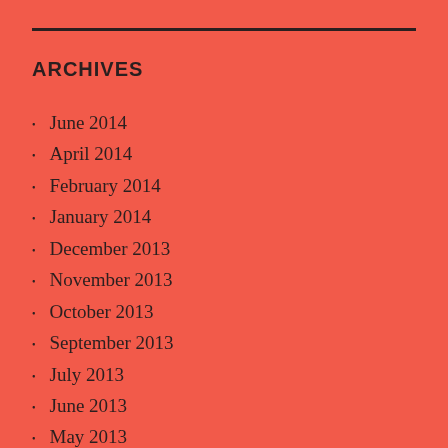ARCHIVES
June 2014
April 2014
February 2014
January 2014
December 2013
November 2013
October 2013
September 2013
July 2013
June 2013
May 2013
April 2013
March…